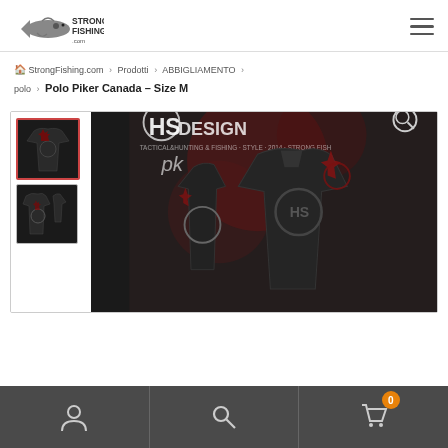StrongFishing.com logo and navigation menu
StrongFishing.com > Prodotti > ABBIGLIAMENTO > polo > Polo Piker Canada – Size M
[Figure (photo): Product page for Polo Piker Canada Size M showing two thumbnail images on the left and a main larger image on the right. The polo shirt is dark/black with Canadian maple leaf design and HS Design branding. Main image shows multiple views of the shirt against a textured red/grey background.]
User account | Search | Cart (0)